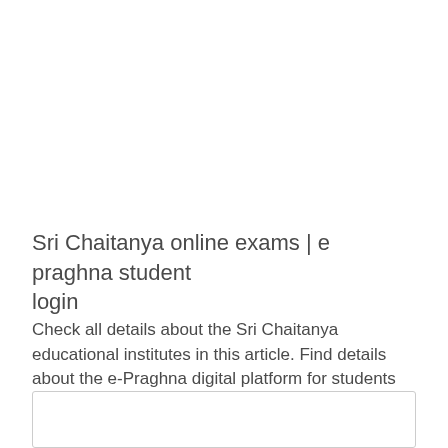Sri Chaitanya online exams | e praghna student login
Check all details about the Sri Chaitanya educational institutes in this article. Find details about the e-Praghna digital platform for students and other related information.